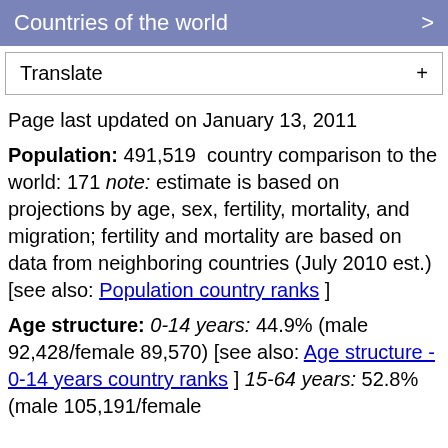Countries of the world >
Translate +
Page last updated on January 13, 2011
Population: 491,519  country comparison to the world: 171 note: estimate is based on projections by age, sex, fertility, mortality, and migration; fertility and mortality are based on data from neighboring countries (July 2010 est.) [see also: Population country ranks ]
Age structure: 0-14 years: 44.9% (male 92,428/female 89,570) [see also: Age structure - 0-14 years country ranks ] 15-64 years: 52.8% (male 105,191/female